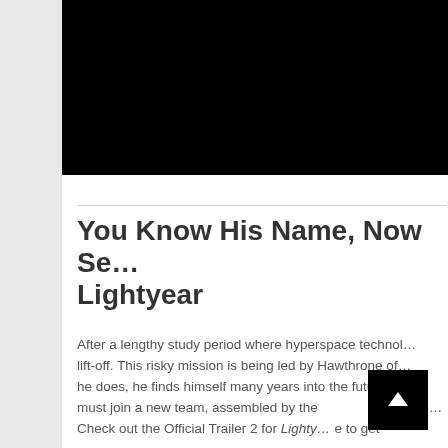[Figure (screenshot): Black video/image block at the top of the content area]
You Know His Name, Now Se… Lightyear
After a lengthy study period where hyperspace technol… lift-off. This risky mission is being led by Hawthrone of… he does, he finds himself many years into the future, w… must join a new team, assembled by the… daughte… Check out the Official Trailer 2 for Lighty… e to get